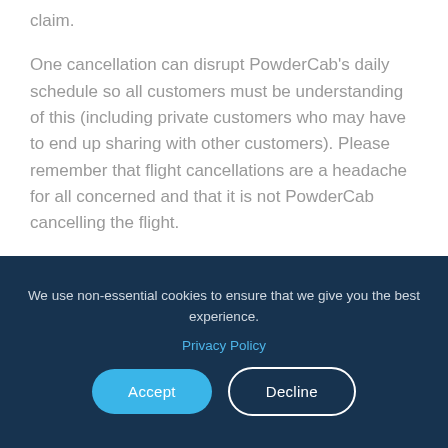claim.
One cancellation can disrupt PowderCab's daily schedule so all customers must be understanding of this (including private customers who may have to end up sharing with other customers). Please remember that flight cancellations are a headache for all concerned and that it is not PowderCab cancelling the flight.
We use non-essential cookies to ensure that we give you the best experience.
Privacy Policy
Accept
Decline